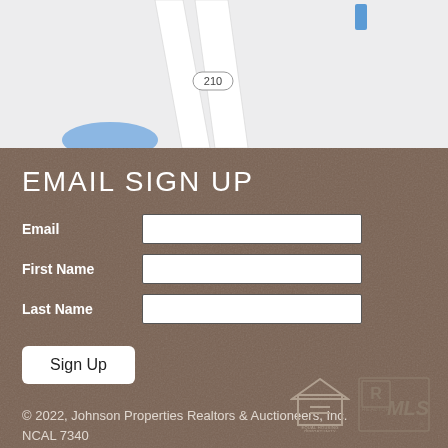[Figure (map): Partial street map showing road 210, white road on gray background with blue landmark indicators]
EMAIL SIGN UP
Email
First Name
Last Name
Sign Up
© 2022, Johnson Properties Realtors & Auctioneers, Inc. NCAL 7340
[Figure (logo): Equal Housing Opportunity logo]
[Figure (logo): Realtor MLS logo]